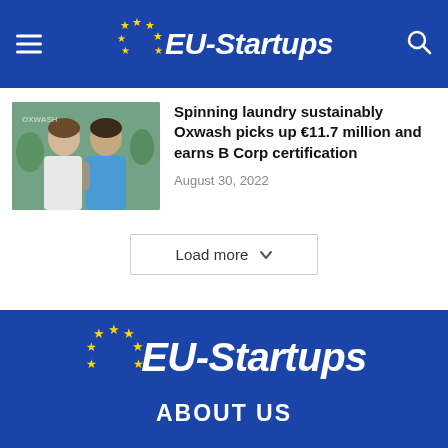EU-Startups
Spinning laundry sustainably Oxwash picks up €11.7 million and earns B Corp certification
August 30, 2022
Load more
[Figure (logo): EU-Startups logo on blue background in footer]
ABOUT US